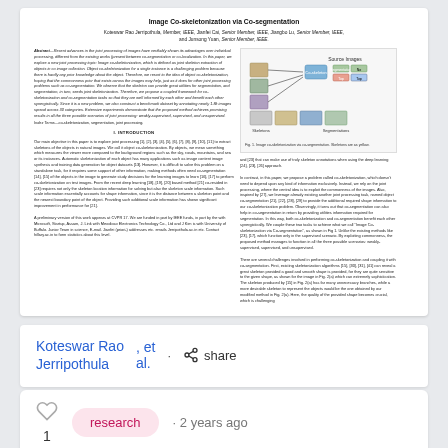[Figure (screenshot): Thumbnail preview of academic paper titled 'Image Co-skeletonization via Co-segmentation' with abstract, introduction text columns, and a figure diagram showing source images and segmentations with arrows.]
Koteswar Rao Jerripothula
, et al.
· share
research
· 2 years ago
1